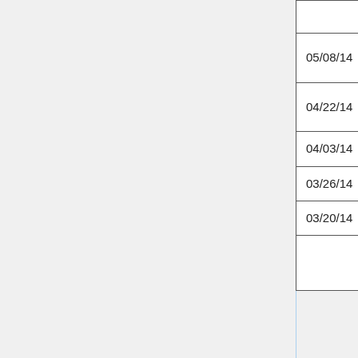| Date | Title | Audio |
| --- | --- | --- |
|  | Accessible ICT in State Government |  |
| 05/08/14 | TFL: Core Standards for Students with Intellectual Disabilities | Audio |
| 04/22/14 | Exploring Apps for the Classroom and Transition | Audio |
| 04/03/14 | TFL: The “Write” Apps for Note Taking | Audio |
| 03/26/14 | TFL: AT For Aging in Place | Audio |
| 03/20/14 | TFL: Low Tech Communication | Audio |
| 3/... | W... |  |